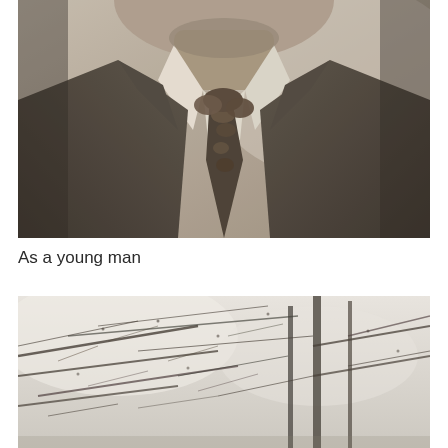[Figure (photo): Black and white portrait photograph cropped to show the chin, neck, and torso of a man wearing a suit jacket, dress shirt with wide collar, and a patterned necktie with floral or leaf design.]
As a young man
[Figure (photo): Black and white photograph of bare winter tree branches against a light sky, showing a dense tangle of thin branches and twigs with no leaves.]